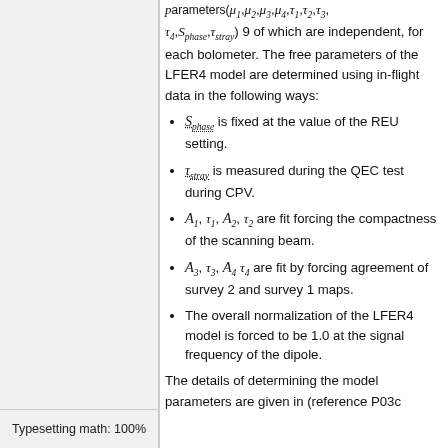parameters (μ1, μ2, μ3, μ4, τ1, τ2, τ3, τ4, S_phase, τ_stray) 9 of which are independent, for each bolometer. The free parameters of the LFER4 model are determined using in-flight data in the following ways:
S_phase is fixed at the value of the REU setting.
τ_stray is measured during the QEC test during CPV.
A1, τ1, A2, τ2 are fit forcing the compactness of the scanning beam.
A3, τ3, A4 τ4 are fit by forcing agreement of survey 2 and survey 1 maps.
The overall normalization of the LFER4 model is forced to be 1.0 at the signal frequency of the dipole.
The details of determining the model parameters are given in (reference P03c
Typesetting math: 100%